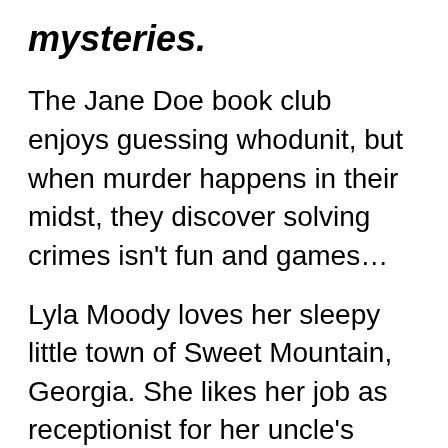mysteries.
The Jane Doe book club enjoys guessing whodunit, but when murder happens in their midst, they discover solving crimes isn't fun and games…
Lyla Moody loves her sleepy little town of Sweet Mountain, Georgia. She likes her job as receptionist for her uncle's private investigative firm, her fellow true crime obsessed Jane Doe members are the friends she's always wanted, and